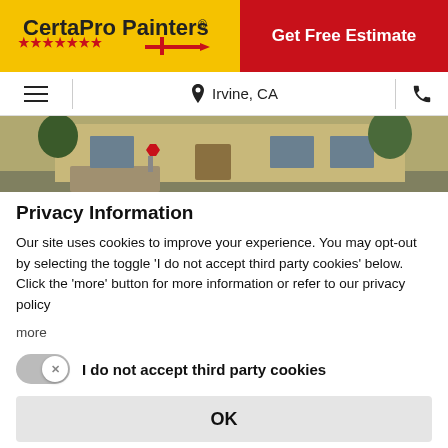CertaPro Painters® | Get Free Estimate
☰  Irvine, CA  📞
[Figure (photo): Exterior photo of a house with tan stucco walls, trees, and driveway]
Privacy Information
Our site uses cookies to improve your experience. You may opt-out by selecting the toggle 'I do not accept third party cookies' below. Click the 'more' button for more information or refer to our privacy policy
more
I do not accept third party cookies
OK
Powered by Usercentrics Consent Management